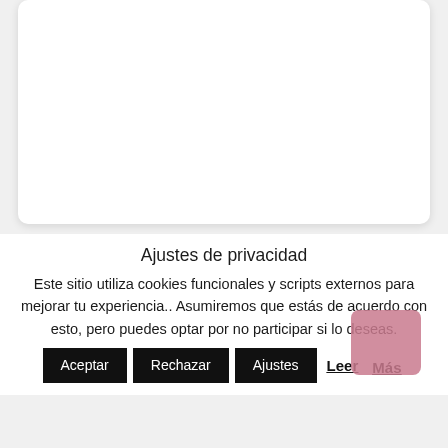[Figure (other): White card/panel area at top of page]
Ajustes de privacidad
Este sitio utiliza cookies funcionales y scripts externos para mejorar tu experiencia.. Asumiremos que estás de acuerdo con esto, pero puedes optar por no participar si lo deseas.
Aceptar  Rechazar  Ajustes  Leer Más